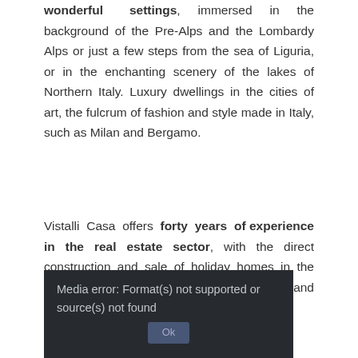wonderful settings, immersed in the background of the Pre-Alps and the Lombardy Alps or just a few steps from the sea of Liguria, or in the enchanting scenery of the lakes of Northern Italy. Luxury dwellings in the cities of art, the fulcrum of fashion and style made in Italy, such as Milan and Bergamo.
Vistalli Casa offers forty years of experience in the real estate sector, with the direct construction and sale of holiday homes in the best Italian locations: attention to details and innovation, for unique solutions.
Utilizziamo i cookie per offrirti la migliore esperienza sul nostro sito. Proseguendo nella navigazione si accetta l'uso dei cookie; in caso contrario è possibile abbandonare il sito.
Media error: Format(s) not supported or source(s) not found